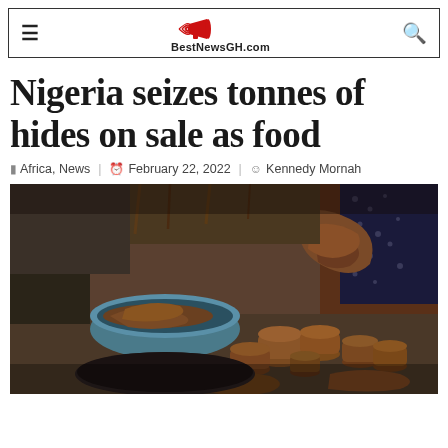BestNewsGH.com
Nigeria seizes tonnes of hides on sale as food
Africa, News  February 22, 2022  Kennedy Mornah
[Figure (photo): A market stall displaying rolled animal hides/skin (ponmo) piled on a surface and in a blue basin, with a woman's hands visible sorting them. Street market scene in Nigeria.]